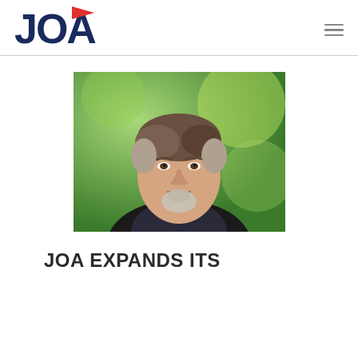JOA
[Figure (photo): Professional headshot of a middle-aged man with short gray-brown hair and a gray goatee, wearing a dark blazer and light shirt, with a blurred green outdoor background.]
JOA EXPANDS ITS